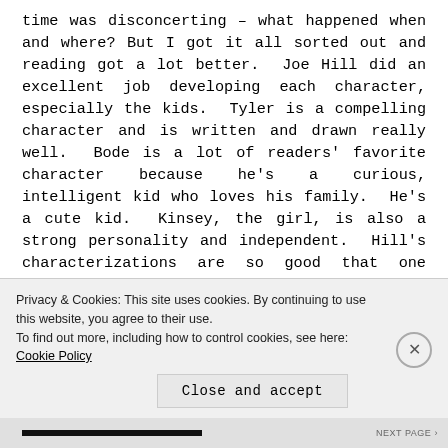time was disconcerting – what happened when and where? But I got it all sorted out and reading got a lot better.  Joe Hill did an excellent job developing each character, especially the kids.  Tyler is a compelling character and is written and drawn really well.  Bode is a lot of readers' favorite character because he's a curious, intelligent kid who loves his family.  He's a cute kid.  Kinsey, the girl, is also a strong personality and independent.  Hill's characterizations are so good that one really is "pulling for" this family.  It is really important to have likeable characters that a reader can sympathize with and follow along with interest.  Without this – this storyline would not be worth reading.  The villain in this volume (Sam Lesser) is
Privacy & Cookies: This site uses cookies. By continuing to use this website, you agree to their use.
To find out more, including how to control cookies, see here: Cookie Policy
Close and accept